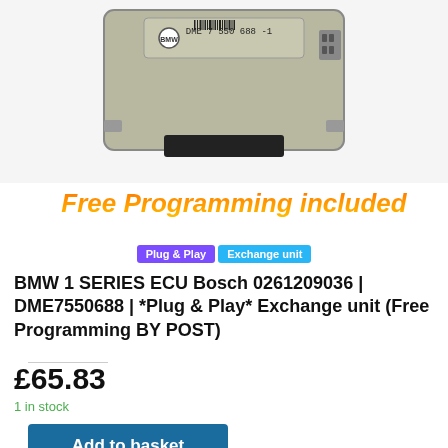[Figure (photo): Photo of a BMW ECU module labeled 'DME 7 550 688' with BMW logo and barcode visible on top of the silver/gray electronic control unit with black connector ports.]
Free Programming included
Plug & Play  Exchange unit
BMW 1 SERIES ECU Bosch 0261209036 | DME7550688 | *Plug & Play* Exchange unit (Free Programming BY POST)
£65.83
1 in stock
Add to basket